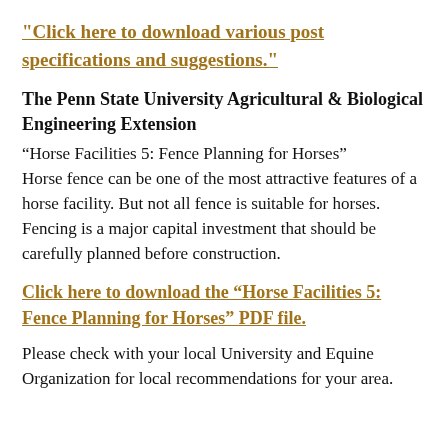Click here to download various post specifications and suggestions.
The Penn State University Agricultural & Biological Engineering Extension
“Horse Facilities 5: Fence Planning for Horses”
Horse fence can be one of the most attractive features of a horse facility. But not all fence is suitable for horses. Fencing is a major capital investment that should be carefully planned before construction.
Click here to download the “Horse Facilities 5: Fence Planning for Horses” PDF file.
Please check with your local University and Equine Organization for local recommendations for your area.